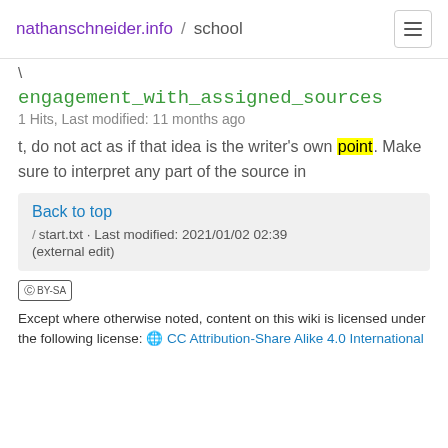nathanschneider.info / school
\
engagement_with_assigned_sources
1 Hits, Last modified: 11 months ago
t, do not act as if that idea is the writer's own point. Make sure to interpret any part of the source in
Back to top
/ start.txt · Last modified: 2021/01/02 02:39
(external edit)
Except where otherwise noted, content on this wiki is licensed under the following license: CC Attribution-Share Alike 4.0 International